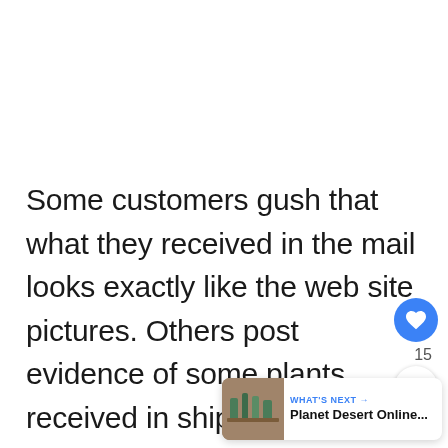Some customers gush that what they received in the mail looks exactly like the web site pictures. Others post evidence of some plants received in shipments with petals broken off, edema, or appearing rather parched by the end of the trip. On the flip side, some of those same shipments
[Figure (infographic): Social media overlay: blue heart button with count 15, share button, and 'What's Next' panel showing Planet Desert Online... with a thumbnail image of cacti/succulents]